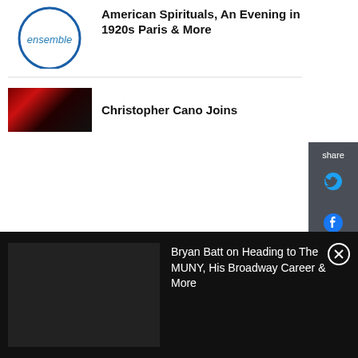[Figure (logo): Circular logo with text 'ensemble' in blue, partial circle visible]
American Spirituals, An Evening in 1920s Paris & More
[Figure (photo): Dark red image of what appears to be a musical instrument or performance]
Christopher Cano Joins
[Figure (infographic): Share sidebar with Twitter and Facebook icons on dark grey background]
Bryan Batt on Heading to The MUNY, His Broadway Career & More